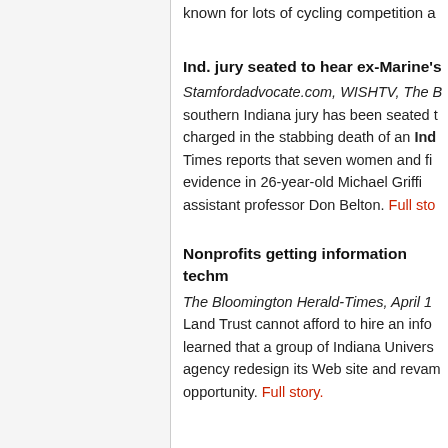known for lots of cycling competition a
Ind. jury seated to hear ex-Marine's
Stamfordadvocate.com, WISHTV, The B southern Indiana jury has been seated t charged in the stabbing death of an Ind Times reports that seven women and fi evidence in 26-year-old Michael Griffi assistant professor Don Belton. Full story.
Nonprofits getting information techm
The Bloomington Herald-Times, April 1 Land Trust cannot afford to hire an info learned that a group of Indiana Univers agency redesign its Web site and revam opportunity. Full story.